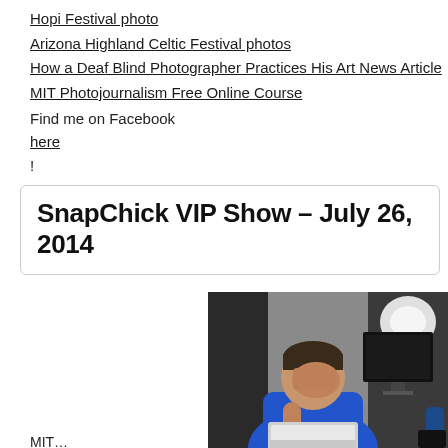Hopi Festival photo
Arizona Highland Celtic Festival photos
How a Deaf Blind Photographer Practices His Art News Article
MIT Photojournalism Free Online Course
Find me on Facebook here!
SnapChick VIP Show – July 26, 2014
[Figure (photo): Person in blue shirt sitting at a desk covering their face with one hand, with a laptop (Apple MacBook) open in front of them and a monitor/studio light in the background.]
MIT…